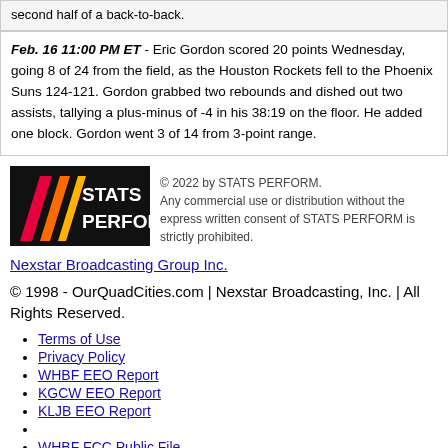second half of a back-to-back.
Feb. 16 11:00 PM ET - Eric Gordon scored 20 points Wednesday, going 8 of 24 from the field, as the Houston Rockets fell to the Phoenix Suns 124-121. Gordon grabbed two rebounds and dished out two assists, tallying a plus-minus of -4 in his 38:19 on the floor. He added one block. Gordon went 3 of 14 from 3-point range.
[Figure (logo): STATS PERFORM logo - black background with red/orange diagonal stripes]
© 2022 by STATS PERFORM. Any commercial use or distribution without the express written consent of STATS PERFORM is strictly prohibited.
Nexstar Broadcasting Group Inc.
© 1998 - OurQuadCities.com | Nexstar Broadcasting, Inc. | All Rights Reserved.
Terms of Use
Privacy Policy
WHBF EEO Report
KGCW EEO Report
KLJB EEO Report
WHBF FCC Public File
KGCW FCC Public File
KLJB FCC Public FIle